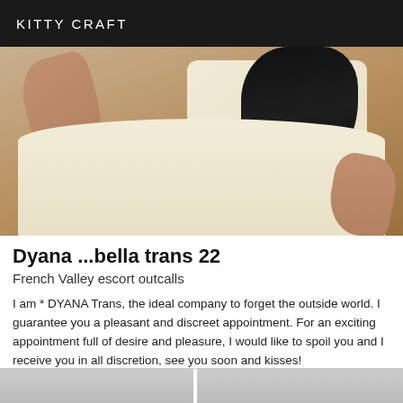KITTY CRAFT
[Figure (photo): A person with long dark hair wearing a white/cream dress or outfit, lying on light-colored bedding]
Dyana ...bella trans 22
French Valley escort outcalls
I am * DYANA Trans, the ideal company to forget the outside world. I guarantee you a pleasant and discreet appointment. For an exciting appointment full of desire and pleasure, I would like to spoil you and I receive you in all discretion, see you soon and kisses!